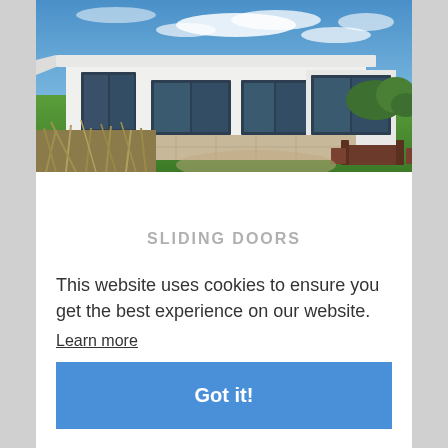[Figure (photo): Modern white flat-roofed house with large glass windows and sliding doors, surrounded by wild grass in foreground, green lawn and trees in background, blue sky with clouds]
SLIDING DOORS
Do you want to maximise your internal view and external views? An alu clad sliding door is the perfect choice thanks to it's large expanses of glass. Our sliding door range has lots of customisable options such as dual colour hardware and glazing bars making them sit perfectly in traditional and modern properties.
This website uses cookies to ensure you get the best experience on our website.
Learn more
Got it!